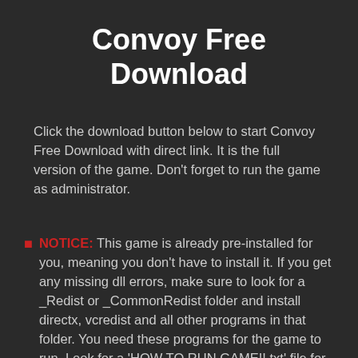Convoy Free Download
Click the download button below to start Convoy Free Download with direct link. It is the full version of the game. Don't forget to run the game as administrator.
NOTICE: This game is already pre-installed for you, meaning you don't have to install it. If you get any missing dll errors, make sure to look for a _Redist or _CommonRedist folder and install directx, vcredist and all other programs in that folder. You need these programs for the game to run. Look for a 'HOW TO RUN GAME!!.txt' file for more help. Also, be sure to right click the exe and always select "Run as administrator" if you're having problems saving the game. Always disable your anti virus before extracting the game to prevent it from